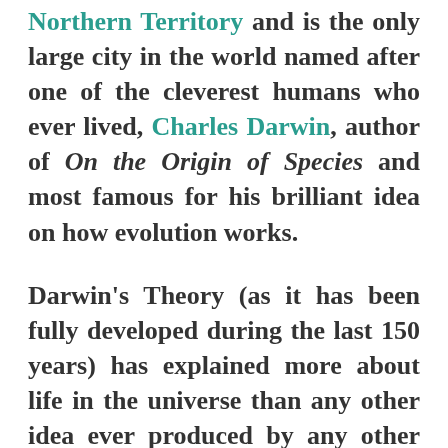Northern Territory and is the only large city in the world named after one of the cleverest humans who ever lived, Charles Darwin, author of On the Origin of Species and most famous for his brilliant idea on how evolution works.
Darwin's Theory (as it has been fully developed during the last 150 years) has explained more about life in the universe than any other idea ever produced by any other thinker from St Paul to Steven Hawking.
In my personal opinion, Darwin's